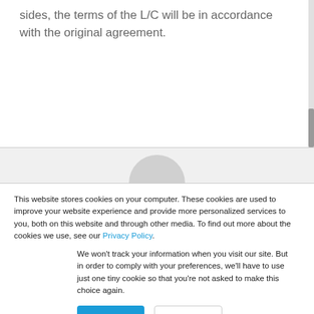sides, the terms of the L/C will be in accordance with the original agreement.
[Figure (photo): Partial view of a person's head (avatar arc) visible above a horizontal divider line]
This website stores cookies on your computer. These cookies are used to improve your website experience and provide more personalized services to you, both on this website and through other media. To find out more about the cookies we use, see our Privacy Policy.
We won't track your information when you visit our site. But in order to comply with your preferences, we'll have to use just one tiny cookie so that you're not asked to make this choice again.
Accept
Decline